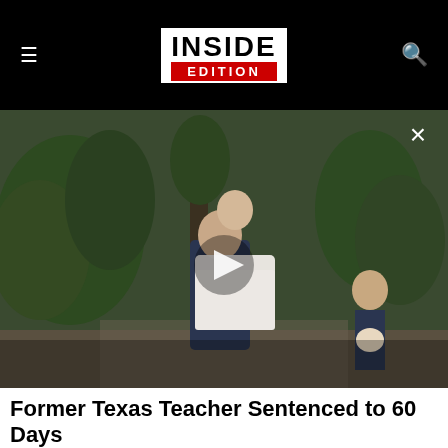INSIDE EDITION
[Figure (screenshot): Video thumbnail showing a groom carrying a bride in a white wedding dress outdoors among green trees. A play button is visible in the center. An X close button is in the upper right.]
Former Texas Teacher Sentenced to 60 Days After Sexually Abusing Student for 2 Years